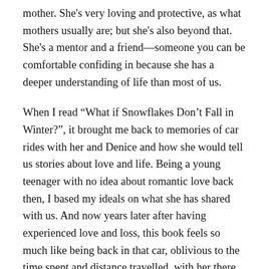mother. She's very loving and protective, as what mothers usually are; but she's also beyond that. She's a mentor and a friend—someone you can be comfortable confiding in because she has a deeper understanding of life than most of us.
When I read “What if Snowflakes Don’t Fall in Winter?”, it brought me back to memories of car rides with her and Denice and how she would tell us stories about love and life. Being a young teenager with no idea about romantic love back then, I based my ideals on what she has shared with us. And now years later after having experienced love and loss, this book feels so much like being back in that car, oblivious to the time spent and distance travelled, with her there affirming my feelings, guiding me to discovering more of what love and life really is and should be, only this time, it’s through her poetry.
In her next collection of poems, she will once again take